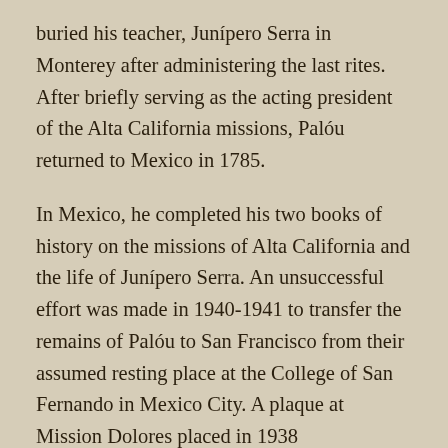buried his teacher, Junípero Serra in Monterey after administering the last rites. After briefly serving as the acting president of the Alta California missions, Palóu returned to Mexico in 1785.
In Mexico, he completed his two books of history on the missions of Alta California and the life of Junípero Serra. An unsuccessful effort was made in 1940-1941 to transfer the remains of Palóu to San Francisco from their assumed resting place at the College of San Fernando in Mexico City. A plaque at Mission Dolores placed in 1938 commemorates Palóu as "Zealous missionary; able administrator; successful pioneer; chosen companion of Junípero Serra. First historian of California." With José Joaquin Moraga, Fray Francisco Palóu may be considered a co-founder of the Spanish Empire